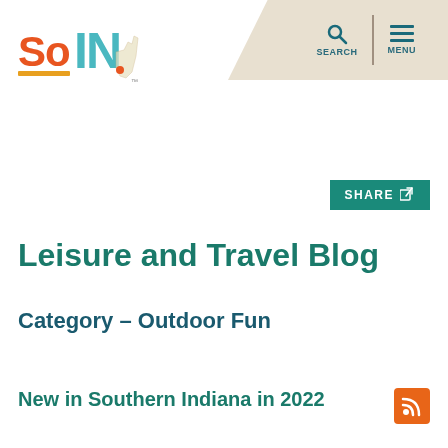[Figure (logo): SoIN Southern Indiana tourism logo with orange 'So' and teal 'IN' letters with state outline]
[Figure (screenshot): Navigation bar with search icon labeled SEARCH and hamburger menu icon labeled MENU on a tan/beige background]
[Figure (screenshot): SHARE button with share icon, teal background]
Leisure and Travel Blog
Category – Outdoor Fun
New in Southern Indiana in 2022
[Figure (logo): Orange RSS feed icon]